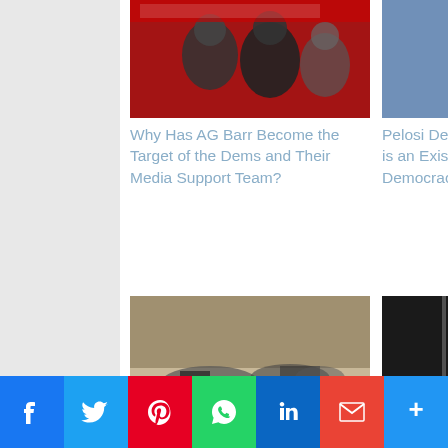[Figure (photo): Thumbnail image of men on red background for AG Barr article]
Why Has AG Barr Become the Target of the Dems and Their Media Support Team?
[Figure (photo): Thumbnail image of Nancy Pelosi speaking]
Pelosi Deceptively Claims: Trump is an Existential Threat to Our Democracy
[Figure (photo): Thumbnail image of burned/destroyed items on ground]
Tucker Carlson Reports on Impact of Illegal Immigration
[Figure (photo): Thumbnail image of red and black diagonal design]
The Anti-Trumper's Falsely Claim The President
[Figure (infographic): Social media sharing bar with Facebook, Twitter, Pinterest, WhatsApp, LinkedIn, Gmail, and More buttons]